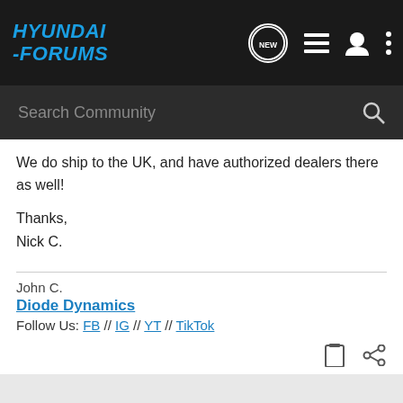HYUNDAI-FORUMS
We do ship to the UK, and have authorized dealers there as well!

Thanks,
Nick C.
John C.
Diode Dynamics
Follow Us: FB // IG // YT // TikTok
Diode Dynamics · Automotive Lighting Experts 🇺🇸